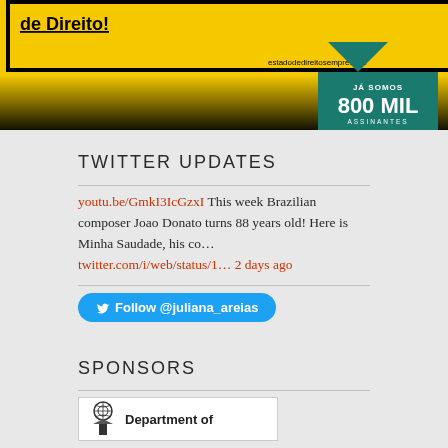[Figure (illustration): Yellow banner advertisement for 'Estado de Direito' website with black border, gradient bottom section fading to black, and a teal/green house-shaped box on the right showing 'JÁ SOMOS 800 MIL ASSINANTES'. URL estadodedireitosempre.com shown in top right.]
TWITTER UPDATES
youtu.be/GmkI3IcGzxI This week Brazilian composer Joao Donato turns 88 years old! Here is Minha Saudade, his co… twitter.com/i/web/status/1… 2 days ago
Follow @juliana_areias
SPONSORS
[Figure (logo): Department of logo with coat of arms icon]